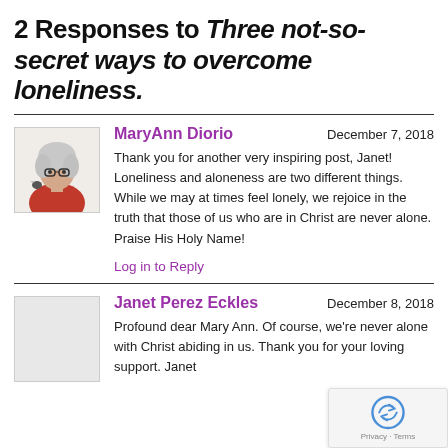2 Responses to Three not-so-secret ways to overcome loneliness.
MaryAnn Diorio
December 7, 2018
Thank you for another very inspiring post, Janet! Loneliness and aloneness are two different things. While we may at times feel lonely, we rejoice in the truth that those of us who are in Christ are never alone. Praise His Holy Name!
Log in to Reply
Janet Perez Eckles
December 8, 2018
Profound dear Mary Ann. Of course, we're never alone with Christ abiding in us. Thank you for your loving support. Janet